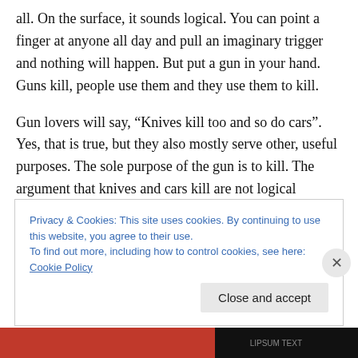all. On the surface, it sounds logical. You can point a finger at anyone all day and pull an imaginary trigger and nothing will happen. But put a gun in your hand. Guns kill, people use them and they use them to kill.
Gun lovers will say, “Knives kill too and so do cars”. Yes, that is true, but they also mostly serve other, useful purposes. The sole purpose of the gun is to kill. The argument that knives and cars kill are not logical arguments against gun control; they are only arguments to do something about making the use of knives and cars
Privacy & Cookies: This site uses cookies. By continuing to use this website, you agree to their use.
To find out more, including how to control cookies, see here: Cookie Policy